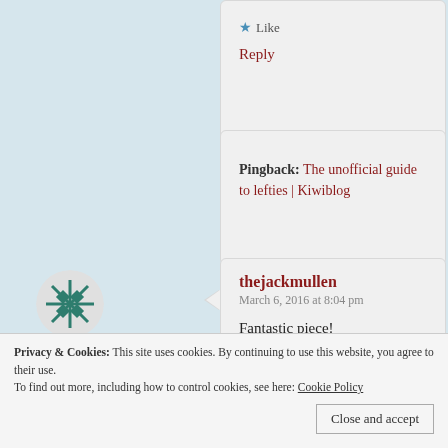Like
Reply
Pingback: The unofficial guide to lefties | Kiwiblog
thejackmullen
March 6, 2016 at 8:04 pm

Fantastic piece!

Liked by 1 person
Privacy & Cookies: This site uses cookies. By continuing to use this website, you agree to their use.
To find out more, including how to control cookies, see here: Cookie Policy
Close and accept
David Robert Hann